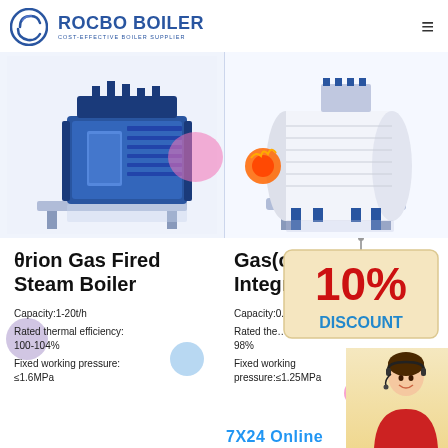[Figure (logo): Rocbo Boiler logo with circular icon and company name]
[Figure (photo): θrion Gas Fired Steam Boiler product photo - blue industrial boiler unit]
[Figure (photo): Gas(oil) Fired Integrated boiler product photo - white cylindrical boiler]
θrion Gas Fired Steam Boiler
Gas(oil) Fired Integra...
Capacity:1-20t/h
Rated thermal efficiency: 100-104%
Fixed working pressure: ≤1.6MPa
Capacity:0.7...
Rated the... 98%
Fixed working pressure:≤1.25MPa
[Figure (infographic): 10% DISCOUNT promotional overlay sign]
[Figure (photo): Customer service representative with headset]
7X24 Online